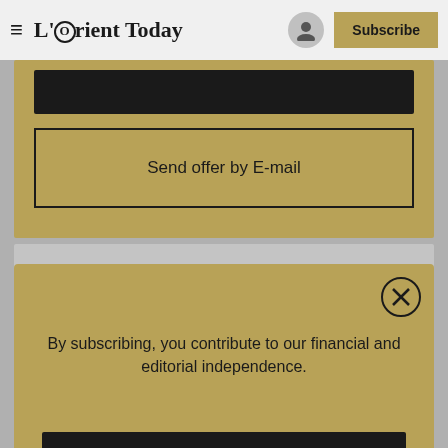L'Orient Today — Subscribe
Send offer by E-mail
By subscribing, you contribute to our financial and editorial independence.
Subscribe
Already have an account? Log in